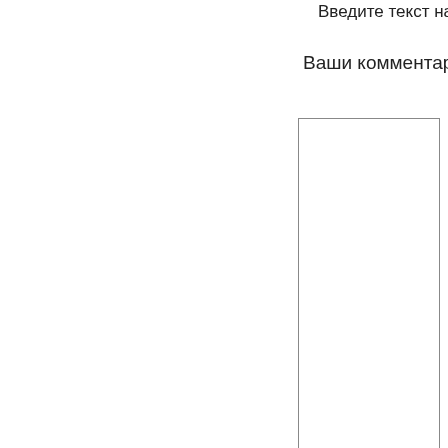Введите текст на к
Ваши комментарик
[Figure (screenshot): Comment text area input box]
[Figure (infographic): Row of emoji smiley face icons for comment reactions]
[Figure (screenshot): Submit button labeled Отправить]